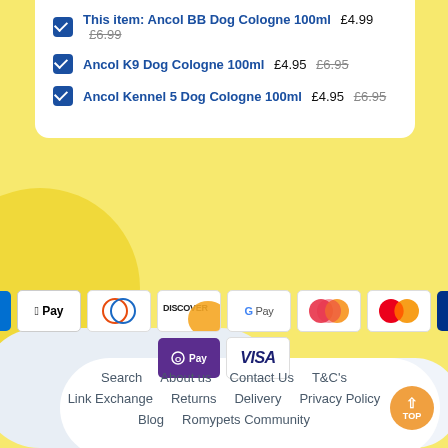This item: Ancol BB Dog Cologne 100ml £4.99 £6.99
Ancol K9 Dog Cologne 100ml £4.95 £6.95
Ancol Kennel 5 Dog Cologne 100ml £4.95 £6.95
[Figure (other): Payment method icons: American Express, Apple Pay, Diners Club, Discover, Google Pay, Meta Pay, Mastercard, PayPal, OPay, Visa]
Search  About us  Contact Us  T&C's  Link Exchange  Returns  Delivery  Privacy Policy  Blog  Romypets Community